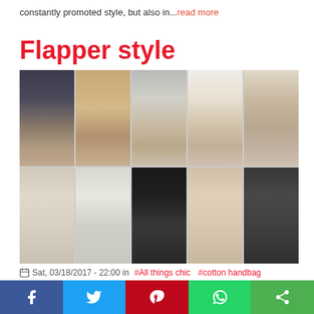constantly promoted style, but also in...read more
Flapper style
[Figure (photo): Collage of 10 fashion runway photos arranged in a 5x2 grid: top row shows models' legs and shoes at runway shows; bottom row shows fashion model portraits]
Sat, 03/18/2017 - 22:00 in #All things chic #cotton handbag
I was wondering when this extraordinary era in fashion history will come to designers attention. This spring the
f  Twitter  Pinterest  WhatsApp  Share